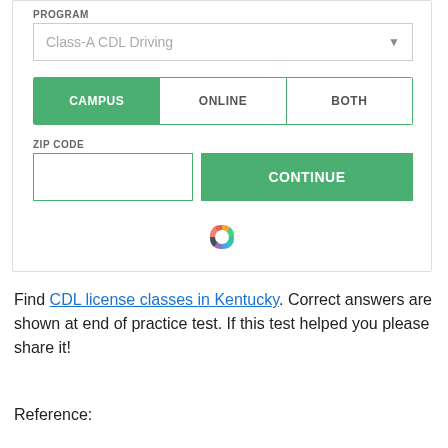PROGRAM
Class-A CDL Driving
CAMPUS | ONLINE | BOTH
ZIP CODE
CONTINUE
[Figure (logo): Colorful hexagon spinner/logo icon]
Find CDL license classes in Kentucky. Correct answers are shown at end of practice test. If this test helped you please share it!
Reference: